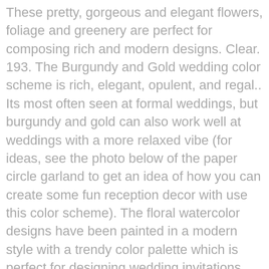These pretty, gorgeous and elegant flowers, foliage and greenery are perfect for composing rich and modern designs. Clear. 193. The Burgundy and Gold wedding color scheme is rich, elegant, opulent, and regal.. Its most often seen at formal weddings, but burgundy and gold can also work well at weddings with a more relaxed vibe (for ideas, see the photo below of the paper circle garland to get an idea of how you can create some fun reception decor with use this color scheme). The floral watercolor designs have been painted in a modern style with a trendy color palette which is perfect for designing wedding invitations, branding & logos, art prints and more. Apr 14, 2019 - Explore Madison Stephany's board "Burgundy Floral Centerpieces", followed by 930 people on Pinterest. All things BURGUNDY <3, BORDEAUX is a set of rustic fall watercolor flower clipart backgrounds featuring floral bouquets, frames, wreaths, separate floral elements, watercolor splashes, card borders and backgrounds, seamless patterns and lots of fun extras! Saved from ... Floral Wedding Wedding Colors